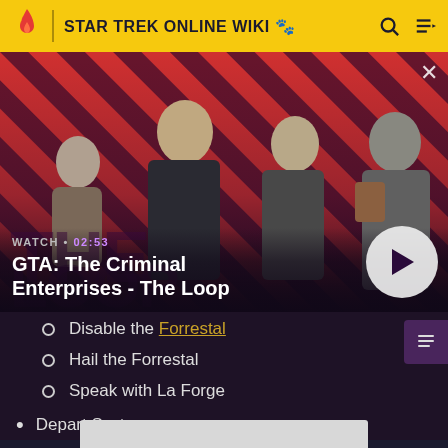STAR TREK ONLINE WIKI
[Figure (screenshot): GTA: The Criminal Enterprises - The Loop video thumbnail with four game characters on a red diagonal striped background. Includes WATCH • 02:53 label and play button.]
Disable the Forrestal
Hail the Forrestal
Speak with La Forge
Depart System